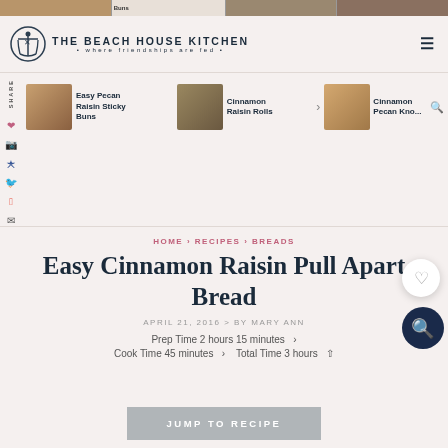THE BEACH HOUSE KITCHEN • where friendships are fed •
[Figure (photo): Three thumbnail images of baked goods at the top strip]
[Figure (photo): Social share sidebar with SHARE, Pinterest, Facebook, Twitter, Yummly, Email icons]
[Figure (photo): Related recipe thumbnails: Easy Pecan Raisin Sticky Buns, Cinnamon Raisin Rolls, Cinnamon Pecan Kno...]
HOME › RECIPES › BREADS
Easy Cinnamon Raisin Pull Apart Bread
APRIL 21, 2016 > BY MARY ANN
Prep Time 2 hours 15 minutes ›
Cook Time 45 minutes › Total Time 3 hours
JUMP TO RECIPE